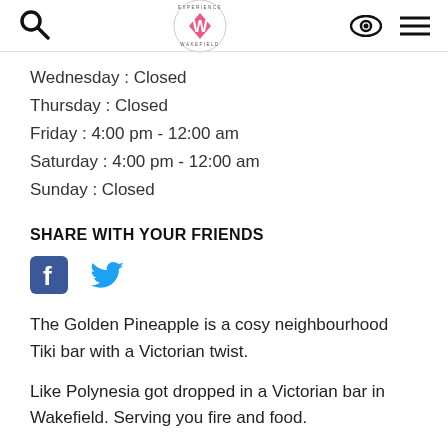Experience Wakefield logo with search, visibility, and menu icons
Wednesday : Closed
Thursday : Closed
Friday : 4:00 pm - 12:00 am
Saturday : 4:00 pm - 12:00 am
Sunday : Closed
SHARE WITH YOUR FRIENDS
[Figure (logo): Facebook and Twitter social media share icons]
The Golden Pineapple is a cosy neighbourhood Tiki bar with a Victorian twist.
Like Polynesia got dropped in a Victorian bar in Wakefield. Serving you fire and food.